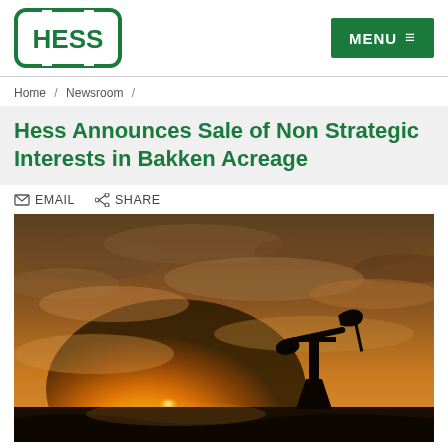HESS | MENU
Home / Newsroom /
Hess Announces Sale of Non Strategic Interests in Bakken Acreage
EMAIL  SHARE
[Figure (photo): Oil pump jack silhouetted against a dramatic golden sunset sky with clouds, prairie landscape in background]